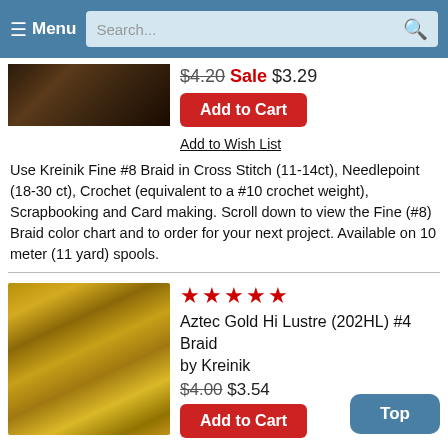Menu | Search...
$4.20 Sale $3.29
Add to Cart
Add to Wish List
Use Kreinik Fine #8 Braid in Cross Stitch (11-14ct), Needlepoint (18-30 ct), Crochet (equivalent to a #10 crochet weight), Scrapbooking and Card making. Scroll down to view the Fine (#8) Braid color chart and to order for your next project. Available on 10 meter (11 yard) spools.
[Figure (photo): Aztec Gold Hi Lustre braid thread spool, golden-colored yarn]
★★★★★ Aztec Gold Hi Lustre (202HL) #4 Braid by Kreinik $4.00 $3.54
Add to Cart